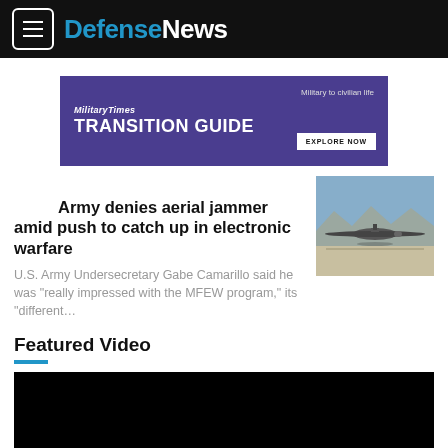Defense News
[Figure (infographic): MilitaryTimes Transition Guide advertisement banner. Purple background with text: MilitaryTimes TRANSITION GUIDE. Military to civilian life. EXPLORE NOW button.]
Army denies aerial jammer amid push to catch up in electronic warfare
U.S. Army Undersecretary Gabe Camarillo said he was "really impressed with the MFEW program," its "different…
[Figure (photo): Drone/UAV aircraft on a runway with mountains in the background under a blue sky.]
Featured Video
[Figure (screenshot): Black video player placeholder rectangle.]